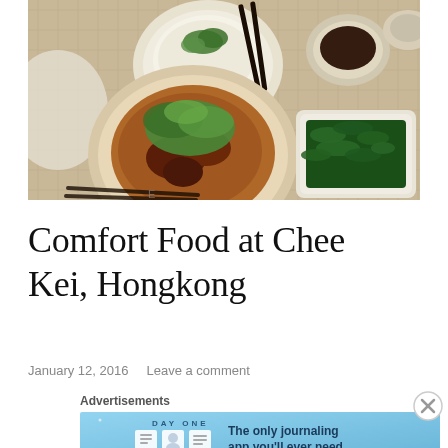[Figure (photo): Photo of a restaurant table with Chinese food dishes: a bowl of congee with green garnish, a braised meat dish with greens on top in sauce, a plate of green vegetables (Chinese broccoli/kai lan), a small bowl of dark sauce, chopsticks, and a Chinese menu/placemat underneath.]
Comfort Food at Chee Kei, Hongkong
January 12, 2016   Leave a comment
Advertisements
[Figure (screenshot): Advertisement banner for DayOne journaling app. Blue gradient background with 'DAY ONE' text, three app icons, and text reading 'The only journaling app you'll ever need.']